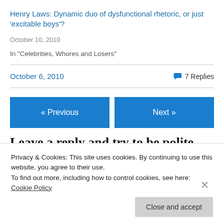Henry Laws: Dynamic duo of dysfunctional rhetoric, or just 'excitable boys'?
October 10, 2010
In "Celebrities, Whores and Losers"
October 6, 2010
7 Replies
« Previous
Next »
Leave a reply and try to be polite
Privacy & Cookies: This site uses cookies. By continuing to use this website, you agree to their use.
To find out more, including how to control cookies, see here: Cookie Policy
Close and accept